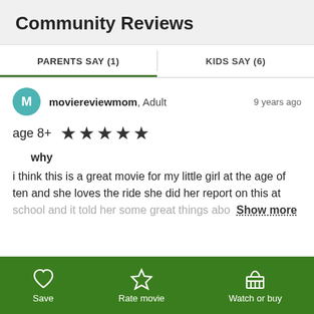Community Reviews
| PARENTS SAY (1) | KIDS SAY (6) |
| --- | --- |
moviereviewmom, Adult — 9 years ago
age 8+  ★★★★★
why
i think this is a great movie for my little girl at the age of ten and she loves the ride she did her report on this at school and it told her some great things abo  Show more
Save | Rate movie | Watch or buy